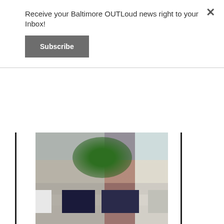Receive your Baltimore OUTLoud news right to your Inbox!
Subscribe
[Figure (photo): Street view of commercial buildings in Baltimore, with parked cars on the street and trees in front.]
Valuable Commercial Property Formerly Operated as the “Flavor” Restaurant & Bar
15 E. Centre St.
Baltimore, MD 21202
Sale to be held at the Circuit Courthouse for Baltimore City
100 North Calvert St.
Baltimore, MD 21202